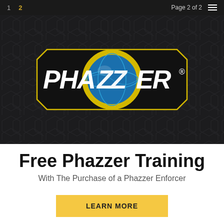1  2  Page 2 of 2
[Figure (logo): Phazzer logo on dark hexagonal background — stylized text 'PHAZZER' in white italic letters with a globe/earth icon in the center of the word, surrounded by a yellow circular ring, all on a black badge/shield shape with yellow outline]
Free Phazzer Training
With The Purchase of a Phazzer Enforcer
LEARN MORE